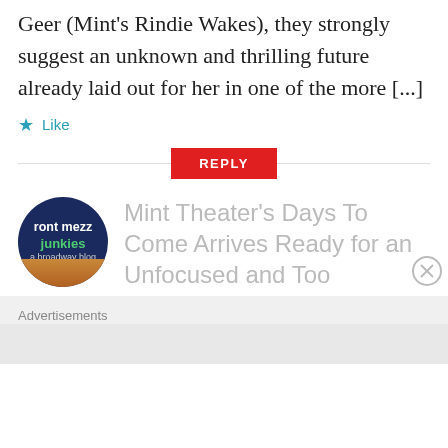Geer (Mint's Rindie Wakes), they strongly suggest an unknown and thrilling future already laid out for her in one of the more [...]
★ Like
REPLY
[Figure (logo): Circular avatar for 'front mezz junkies, a broadway blog' with dark blue background and orange/earth bottom]
Mint Theater's Days To Come Arrives Ready for an Unfocused and Too
Advertisements